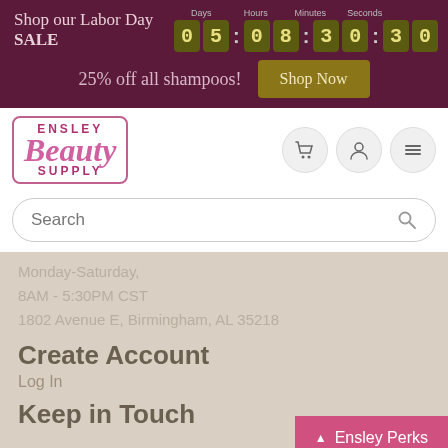[Figure (screenshot): Top promotional banner with 'Shop our Labor Day SALE' text and countdown timer showing 05:08:30:30 (Days/Hours/Minutes/Seconds), followed by '25% off all shampoos!' promo text and a 'Shop Now' button]
[Figure (logo): Ensley Beauty Supply logo with pink script 'Beauty' text and border]
Search
Monday-Saturday,
8AM - 5:30PM CST
1802 Avenue E, Birmingham, AL 35218
Create Account
Log In
Keep in Touch
Ensley Perks